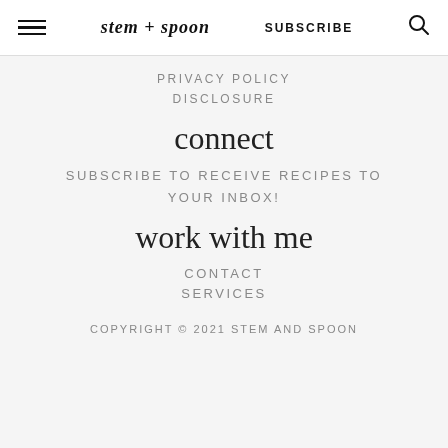stem + spoon  SUBSCRIBE
PRIVACY POLICY
DISCLOSURE
connect
SUBSCRIBE TO RECEIVE RECIPES TO YOUR INBOX!
work with me
CONTACT
SERVICES
COPYRIGHT © 2021 STEM AND SPOON